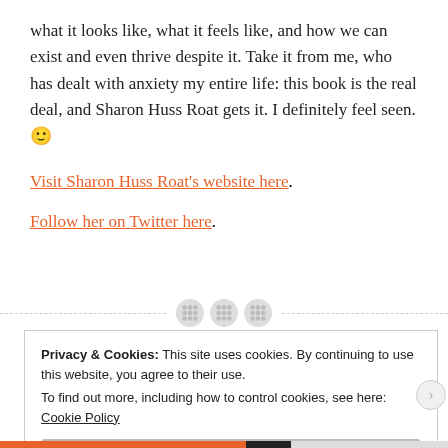what it looks like, what it feels like, and how we can exist and even thrive despite it. Take it from me, who has dealt with anxiety my entire life: this book is the real deal, and Sharon Huss Roat gets it. I definitely feel seen. 🙂
Visit Sharon Huss Roat's website here.
Follow her on Twitter here.
Privacy & Cookies: This site uses cookies. By continuing to use this website, you agree to their use.
To find out more, including how to control cookies, see here: Cookie Policy
Close and accept